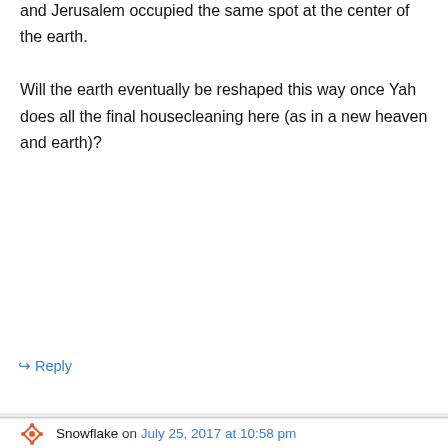and Jerusalem occupied the same spot at the center of the earth. Will the earth eventually be reshaped this way once Yah does all the final housecleaning here (as in a new heaven and earth)?
↳ Reply
Marianne on July 25, 2017 at 10:30 pm
only HE know the final design
↳ Reply
Snowflake on July 25, 2017 at 10:58 pm